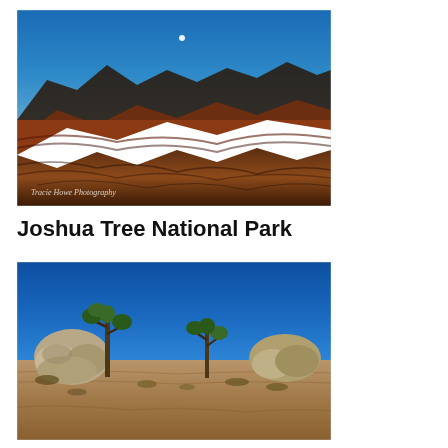[Figure (photo): Aerial landscape photo of eroded desert badlands with red-brown layered rock formations under a deep blue sky with a small moon visible. Watermark reads 'Tracie Howe Photography'.]
Joshua Tree National Park
[Figure (photo): Wide-angle landscape photo of Joshua Tree National Park showing Joshua trees and large granite boulder formations under a vivid deep blue sky with sandy desert ground.]